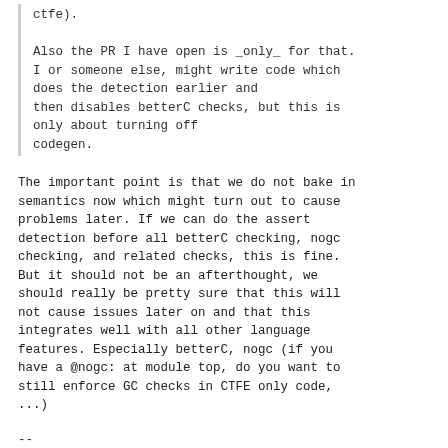ctfe).

Also the PR I have open is _only_ for that.
I or someone else, might write code which
does the detection earlier and
then disables betterC checks, but this is
only about turning off
codegen.
The important point is that we do not bake in
semantics now which might turn out to cause
problems later. If we can do the assert
detection before all betterC checking, nogc
checking, and related checks, this is fine.
But it should not be an afterthought, we
should really be pretty sure that this will
not cause issues later on and that this
integrates well with all other language
features. Especially betterC, nogc (if you
have a @nogc: at module top, do you want to
still enforce GC checks in CTFE only code,
...)
--
Johannes